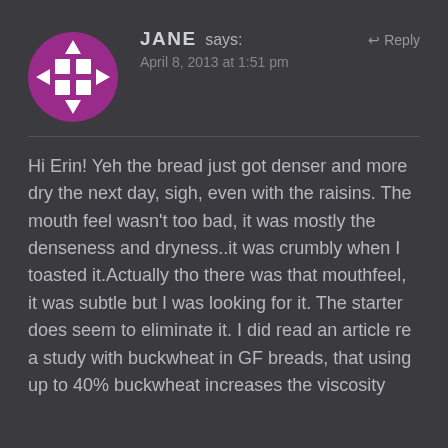[Figure (illustration): Purple and white geometric avatar icon showing a grid/window pattern with triangular corner accents in a circle]
JANE says:
↩ Reply
April 8, 2013 at 1:51 pm
Hi Erin! Yeh the bread just got denser and more dry the next day, sigh, even with the raisins. The mouth feel wasn't too bad, it was mostly the denseness and dryness..it was crumbly when I toasted it.Actually tho there was that mouthfeel, it was subtle but I was looking for it. The starter does seem to eliminate it. I did read an article re a study with buckwheat in GF breads, that using up to 40% buckwheat increases the viscosity